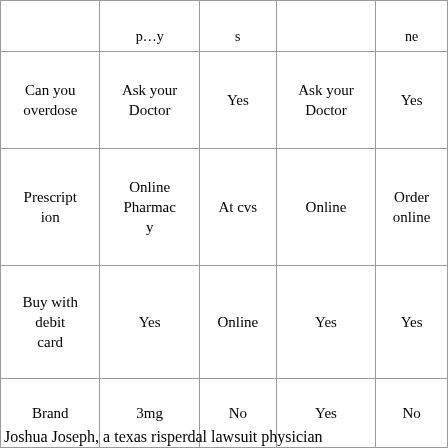|  | p...y | s |  | ne |
| Can you overdose | Ask your Doctor | Yes | Ask your Doctor | Yes |
| Prescription | Online Pharmacy | At cvs | Online | Order online |
| Buy with debit card | Yes | Online | Yes | Yes |
| Brand | 3mg | No | Yes | No |
Joshua Joseph, a texas risperdal lawsuit physician